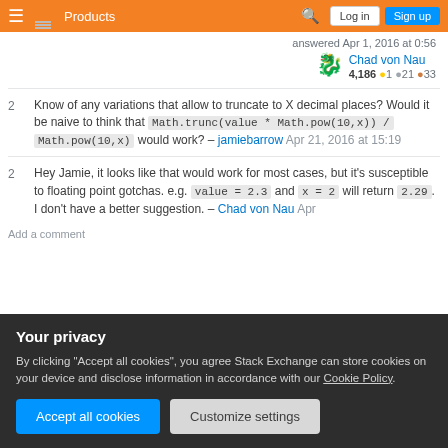≡ [Stack Overflow logo] Products 🔍 Log in Sign up
answered Apr 1, 2016 at 0:56
Chad von Nau 4,186 ●1 ●21 ●33
2 Know of any variations that allow to truncate to X decimal places? Would it be naive to think that Math.trunc(value * Math.pow(10,x)) / Math.pow(10,x) would work? – jamiebarrow Apr 21, 2016 at 15:19
2 Hey Jamie, it looks like that would work for most cases, but it's susceptible to floating point gotchas. e.g. value = 2.3 and x = 2 will return 2.29 . I don't have a better suggestion. – Chad von Nau Apr
Your privacy
By clicking "Accept all cookies", you agree Stack Exchange can store cookies on your device and disclose information in accordance with our Cookie Policy.
[Accept all cookies] [Customize settings]